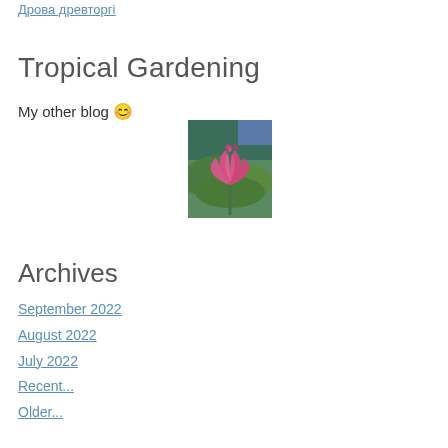Дрова древторгі
Tropical Gardening
My other blog 😊
[Figure (photo): Pink lotus bud with green leaves in background]
Archives
September 2022
August 2022
July 2022
Recent...
Older...